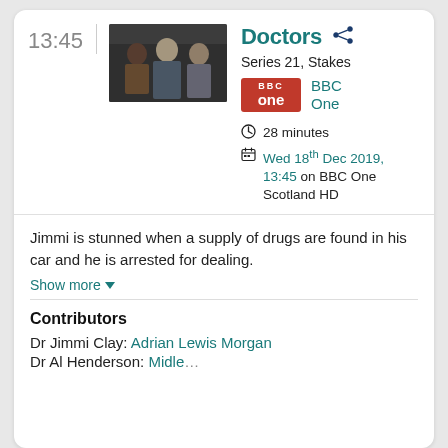13:45
[Figure (photo): Still from TV show Doctors showing three people in conversation]
Doctors
Series 21, Stakes
[Figure (logo): BBC One logo — red rectangle with BBC text and 'one' below]
BBC One
28 minutes
Wed 18th Dec 2019, 13:45 on BBC One Scotland HD
Jimmi is stunned when a supply of drugs are found in his car and he is arrested for dealing.
Show more ▾
Contributors
Dr Jimmi Clay: Adrian Lewis Morgan
Dr Al Henderson: Midle...